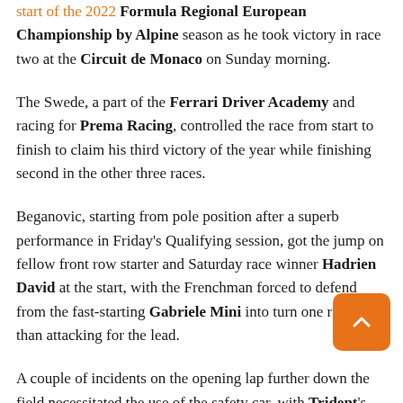start of the 2022 Formula Regional European Championship by Alpine season as he took victory in race two at the Circuit de Monaco on Sunday morning.
The Swede, a part of the Ferrari Driver Academy and racing for Prema Racing, controlled the race from start to finish to claim his third victory of the year while finishing second in the other three races.
Beganovic, starting from pole position after a superb performance in Friday's Qualifying session, got the jump on fellow front row starter and Saturday race winner Hadrien David at the start, with the Frenchman forced to defend from the fast-starting Gabriele Mini into turn one rather than attacking for the lead.
A couple of incidents on the opening lap further down the field necessitated the use of the safety car, with Trident's Roman